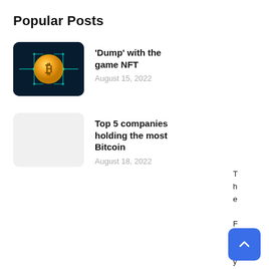Popular Posts
[Figure (photo): Bitcoin coin with circuit board background, dark teal/cyan themed image]
'Dump' with the game NFT
August 15, 2022
[Figure (photo): Light grey placeholder thumbnail image]
Top 5 companies holding the most Bitcoin
August 18, 2022